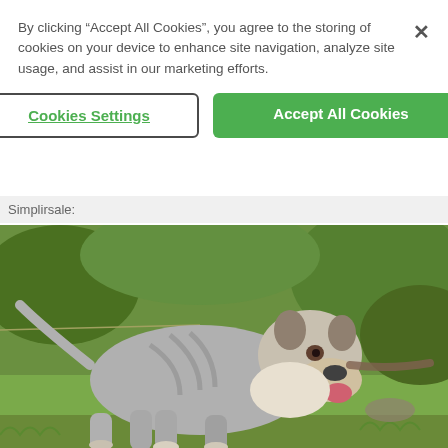By clicking “Accept All Cookies”, you agree to the storing of cookies on your device to enhance site navigation, analyze site usage, and assist in our marketing efforts.
Cookies Settings
Accept All Cookies
Simplirsale
[Figure (photo): A muscular pit bull type dog standing on grass outdoors, facing right with mouth open and tongue out. The dog has a grey and white coat. Green foliage visible in background.]